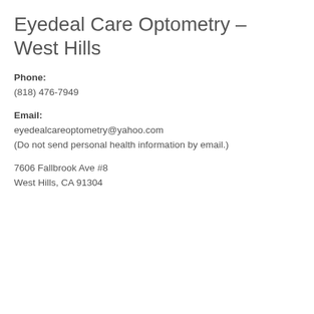Eyedeal Care Optometry – West Hills
Phone:
(818) 476-7949
Email:
eyedealcareoptometry@yahoo.com
(Do not send personal health information by email.)
7606 Fallbrook Ave #8
West Hills, CA 91304